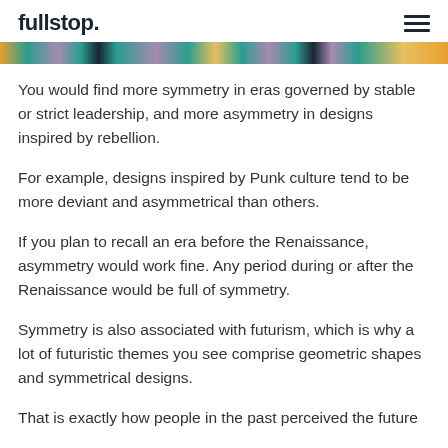fullstop.
[Figure (photo): Colorful horizontal banner image with teal, purple, gold, and dark colors in a patchwork pattern]
You would find more symmetry in eras governed by stable or strict leadership, and more asymmetry in designs inspired by rebellion.
For example, designs inspired by Punk culture tend to be more deviant and asymmetrical than others.
If you plan to recall an era before the Renaissance, asymmetry would work fine. Any period during or after the Renaissance would be full of symmetry.
Symmetry is also associated with futurism, which is why a lot of futuristic themes you see comprise geometric shapes and symmetrical designs.
That is exactly how people in the past perceived the future